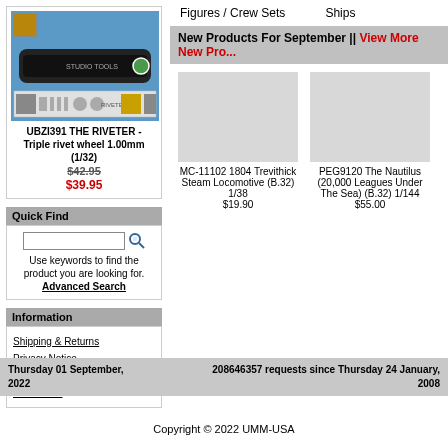[Figure (photo): Photo of UBZI391 THE RIVETER - Triple rivet wheel 1.00mm (1/32) tool product]
UBZI391 THE RIVETER - Triple rivet wheel 1.00mm (1/32)
$42.95
$39.95
Quick Find
Use keywords to find the product you are looking for.
Advanced Search
Information
Shipping & Returns
Privacy Notice
Conditions of Use
Contact Us
Figures / Crew Sets
Ships
New Products For September || View More New Pro...
MC-11102 1804 Trevithick Steam Locomotive (B.32) 1/38
$19.90
PEG9120 The Nautilus (20,000 Leagues Under The Sea) (B.32) 1/144
$55.00
Thursday 01 September, 2022
208646357 requests since Thursday 24 January, 2008
Copyright © 2022 UMM-USA